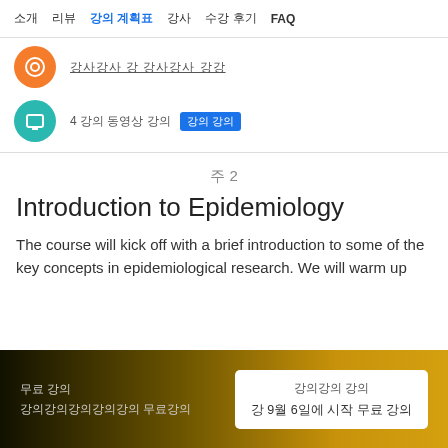소개  리뷰  강의 계획표  강사  수강 후기  FAQ
[Figure (illustration): Orange circle icon with symbol inside - course module icon]
강사강사 강 강사강사 강강
[Figure (illustration): Teal circle icon with screen/monitor symbol inside]
4 강의 동영상 강의  강의 강의
주 2
Introduction to Epidemiology
The course will kick off with a brief introduction to some of the key concepts in epidemiological research. We will warm up
무료 강의  강의강의강의강의강의 무료강의  강 9월 6일에 시작 무료 강의